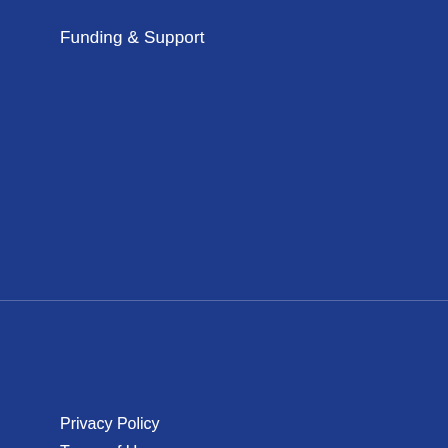Funding & Support
Privacy Policy
Terms of Use
Site Map
Supplier Information
This website uses cookies to improve website functionality. You may delete or block cookies by accessing your preferences. For more information, please see our Privacy Policy and Terms and Conditions. By using this website, you consent to our use of cookies.
Accept
© 2022 BioMarin. All rights reserved.